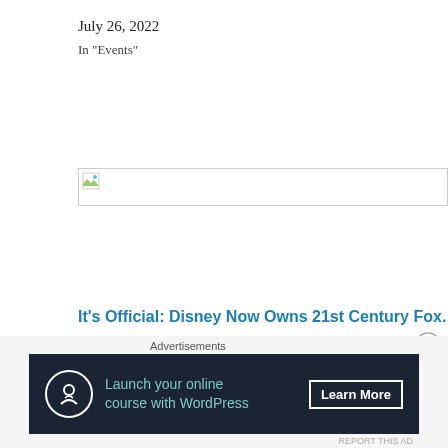July 26, 2022
In "Events"
[Figure (other): Broken/missing image placeholder with small thumbnail icon in top-left corner, bordered rectangle]
It's Official: Disney Now Owns 21st Century Fox.
December 14, 2017
In "Featured"
Advertisements
[Figure (infographic): Advertisement banner: dark navy background with circular icon (person with umbrella), teal text 'Launch your online course with WordPress', white 'Learn More' button]